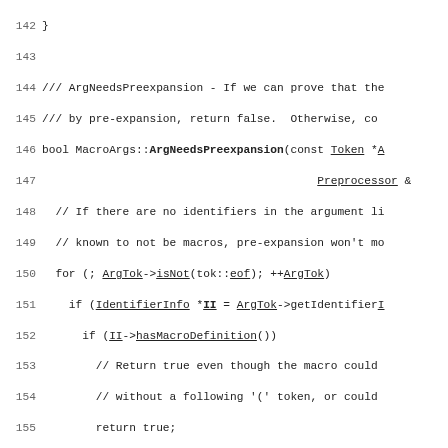Source code listing lines 142-172, C++ preprocessor implementation (MacroArgs.cpp)